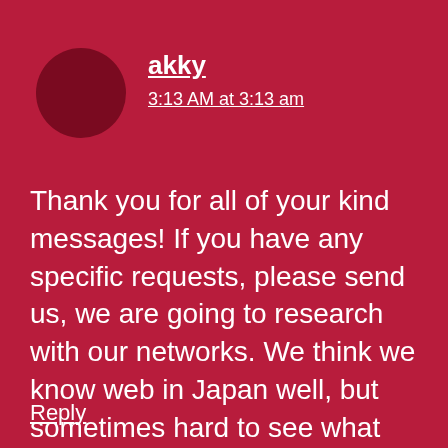[Figure (illustration): Dark red circular avatar placeholder]
akky
3:13 AM at 3:13 am
Thank you for all of your kind messages! If you have any specific requests, please send us, we are going to research with our networks. We think we know web in Japan well, but sometimes hard to see what things are unknown and rather needed to be explained.
Reply